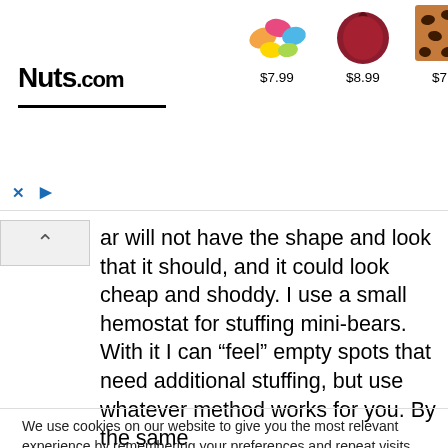[Figure (screenshot): Nuts.com advertisement banner with logo and 5 candy/nut product images with prices: $7.99, $8.99, $7.99, $11.99, $11.99]
ar will not have the shape and look that it should, and it could look cheap and shoddy. I use a small hemostat for stuffing mini-bears. With it I can “feel” empty spots that need additional stuffing, but use whatever method works for you. By the same
We use cookies on our website to give you the most relevant experience by remembering your preferences and repeat visits. By clicking “Accept All”, you consent to the use of ALL the cookies. However, you may visit “Cookie Settings” to provide a controlled consent.
Cookie Settings
Accept All